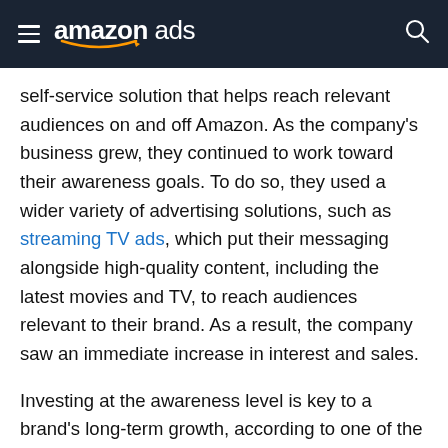amazon ads
self-service solution that helps reach relevant audiences on and off Amazon. As the company's business grew, they continued to work toward their awareness goals. To do so, they used a wider variety of advertising solutions, such as streaming TV ads, which put their messaging alongside high-quality content, including the latest movies and TV, to reach audiences relevant to their brand. As a result, the company saw an immediate increase in interest and sales.
Investing at the awareness level is key to a brand's long-term growth, according to one of the largest ad effectiveness studies in the history of advertising, conducted by Peter Field and Les Binet.2